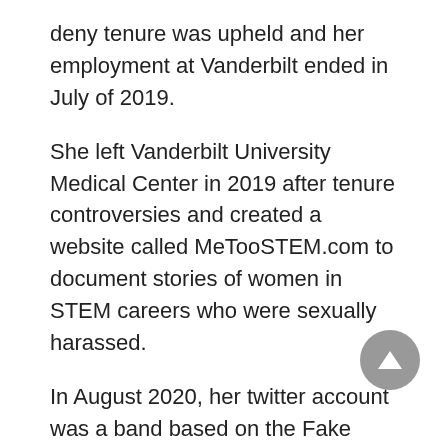deny tenure was upheld and her employment at Vanderbilt ended in July of 2019.
She left Vanderbilt University Medical Center in 2019 after tenure controversies and created a website called MeTooSTEM.com to document stories of women in STEM careers who were sexually harassed.
In August 2020, her twitter account was a band based on the Fake account, where BethAnn allegedly pretended to be a bisexual.
Family
How old is BethAnn McLaughlin? However, there